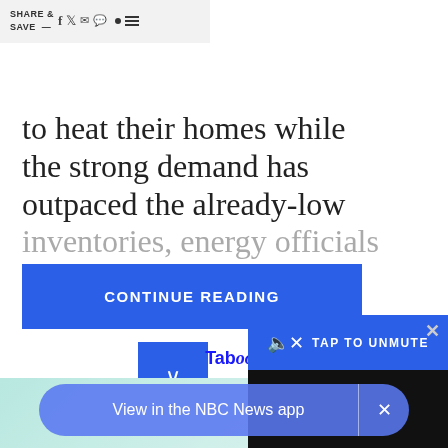SHARE & SAVE —
to heat their homes while the strong demand has outpaced the already-low inventories, energy officials say
CONTINUE READING
[Figure (other): Blue chevron/collapse button with down arrow]
Taboola Feed
[Figure (photo): Partial image of a person at bottom of page]
[Figure (other): Video player widget overlay with TAP TO UNMUTE button and close X]
View in the NBC News app